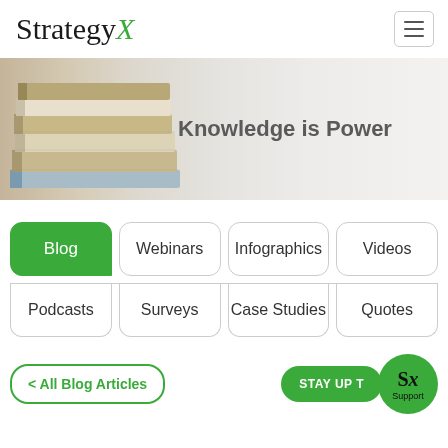StrategyX
[Figure (screenshot): Hero banner image of stacked books with text 'Knowledge is Power']
Knowledge is Power
Blog
Webinars
Infographics
Videos
Podcasts
Surveys
Case Studies
Quotes
STAY UP T...
< All Blog Articles